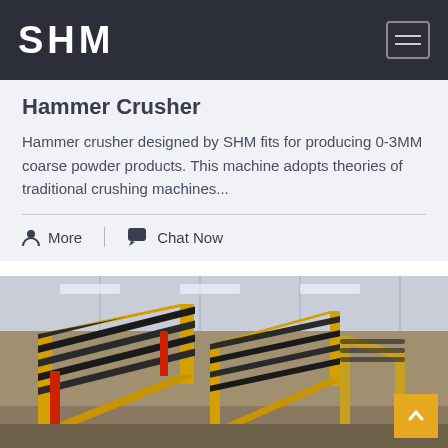SHM
Hammer Crusher
Hammer crusher designed by SHM fits for producing 0-3MM coarse powder products. This machine adopts theories of traditional crushing machines...
More  |  Chat Now
[Figure (photo): Factory interior showing yellow conveyor belt machinery with black rollers arranged on inclined frames, inside a large industrial building with steel structure roof.]